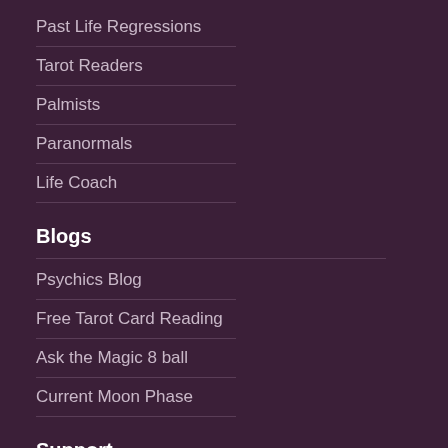Past Life Regressions
Tarot Readers
Palmists
Paranormals
Life Coach
Blogs
Psychics Blog
Free Tarot Card Reading
Ask the Magic 8 ball
Current Moon Phase
Support
Contact Us
Help